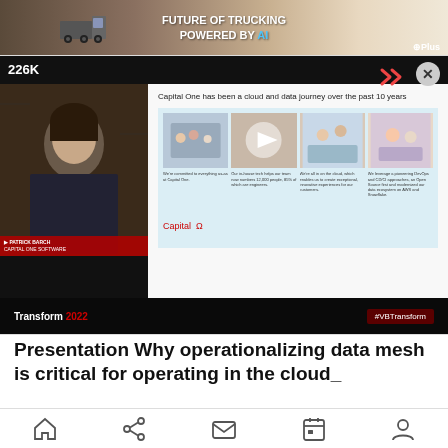[Figure (screenshot): Advertisement banner for Plus AI trucking: 'FUTURE OF TRUCKING POWERED BY AI' with truck image on desert road background]
[Figure (screenshot): Video player showing a presentation with speaker (Patrick Barch, Capital One Software) on left and Capital One cloud journey slide on right. Shows 226K views. Transform 2022 conference branding at bottom. Close button (X) and chevron arrows visible.]
Presentation Why operationalizing data mesh is critical for operating in the cloud_
[Figure (screenshot): Mobile navigation bar with home, share, mail, calendar, and profile icons]